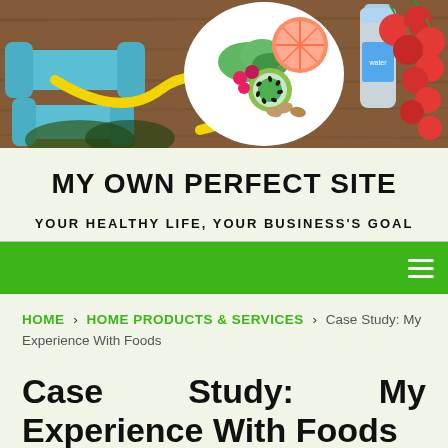[Figure (photo): Header photo showing blue dumbbells with measuring tape, a heart-shaped plate of fruits and vegetables including grapefruit kiwi raspberries and greens, a water bottle, and cherry tomatoes on a wooden surface.]
MY OWN PERFECT SITE
YOUR HEALTHY LIFE, YOUR BUSINESS'S GOAL
[Figure (other): Green navigation bar with hamburger menu icon (three horizontal white lines) on the right.]
HOME › HOME PRODUCTS & SERVICES › Case Study: My Experience With Foods
Case Study: My Experience With Foods